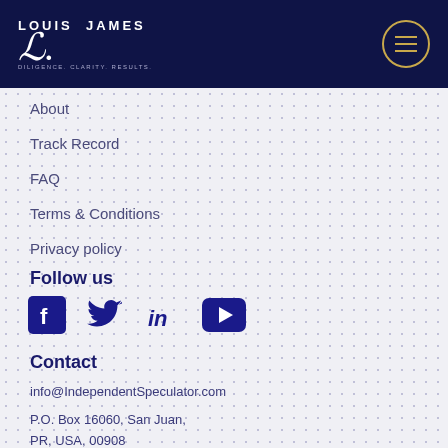[Figure (logo): Louis James logo with script L and tagline 'DILIGENCE. CLARITY. RESULTS.' on dark navy background]
About
Track Record
FAQ
Terms & Conditions
Privacy policy
Follow us
[Figure (illustration): Social media icons: Facebook, Twitter, LinkedIn, YouTube]
Contact
info@IndependentSpeculator.com
P.O. Box 16060, San Juan, PR, USA, 00908